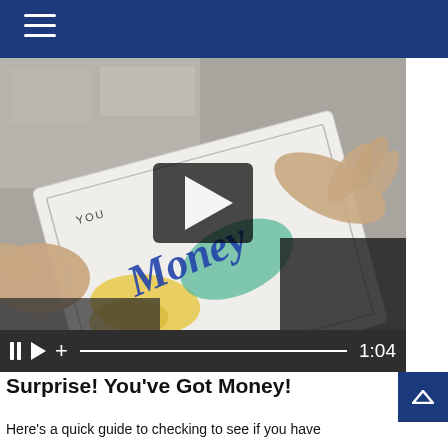Navigation menu header bar
[Figure (screenshot): A video thumbnail showing hands holding a tablet device displaying a colorful illustrated artwork with the word 'Money' written in blue script on it. A black semi-transparent play button overlay is visible in the center of the video.]
[Figure (screenshot): Video player controls bar showing pause button, play button, plus button, progress bar (mostly filled), and time display '1:04']
Surprise! You've Got Money!
Here's a quick guide to checking to see if you have